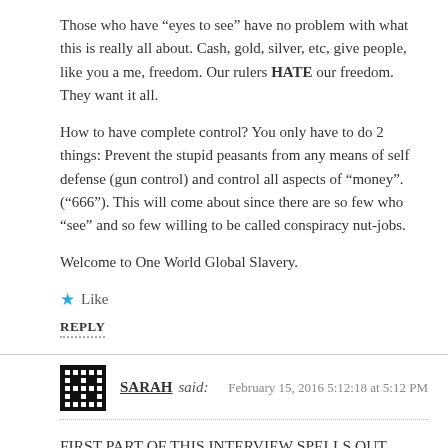Those who have “eyes to see” have no problem with what this is really all about. Cash, gold, silver, etc, give people, like you a me, freedom. Our rulers HATE our freedom. They want it all.
How to have complete control? You only have to do 2 things: Prevent the stupid peasants from any means of self defense (gun control) and control all aspects of “money”. (“666”). This will come about since there are so few who “see” and so few willing to be called conspiracy nut-jobs.
Welcome to One World Global Slavery.
Like
REPLY
SARAH said: February 15, 2016 5:12:18 at 5:12 PM
FIRST PART OF THIS INTERVIEW SPELLS OUT DEUTSCHE BANK’S GROWING PROBLEMS AND WHERE THEY CAME FROM.